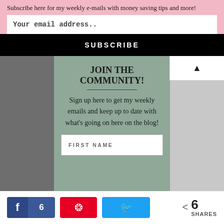Subscribe here for my weekly e-mails with money saving tips and more!
Your email address..
SUBSCRIBE
JOIN THE COMMUNITY!
Sign up here to get my weekly emails and keep up to date with what's going on here on the blog!
FIRST NAME
6 SHARES